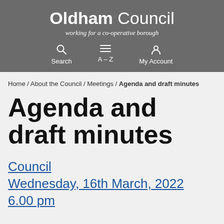Oldham Council — working for a co-operative borough
Home / About the Council / Meetings / Agenda and draft minutes
Agenda and draft minutes
Council Wednesday, 16th March, 2022 6.00 pm